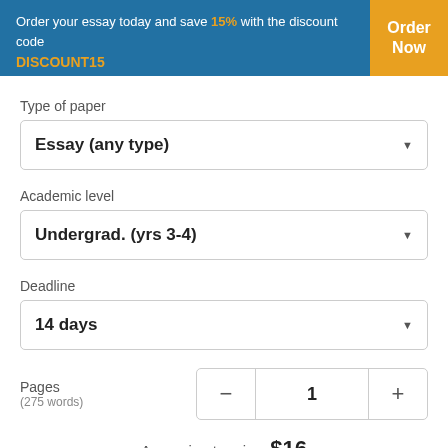Order your essay today and save 15% with the discount code DISCOUNT15
Type of paper
Essay (any type)
Academic level
Undergrad. (yrs 3-4)
Deadline
14 days
Pages
(275 words)
Approximate price: $16
CONTINUE TO ORDER